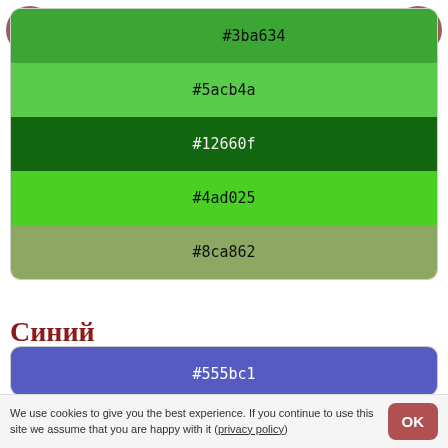[Figure (infographic): Green color palette card showing 5 color swatches with hex codes: #3ba634, #5acb4a, #12660f, #4ad025, #8ca862. Top bar has lightbulb icon on left and menu icon on right.]
Синий
[Figure (infographic): Blue color palette card showing 5 color swatches with hex codes: #555bc1, #4069c8, #1e2a64, #adbee4, #1d2c6c]
We use cookies to give you the best experience. If you continue to use this site we assume that you are happy with it (privacy policy)